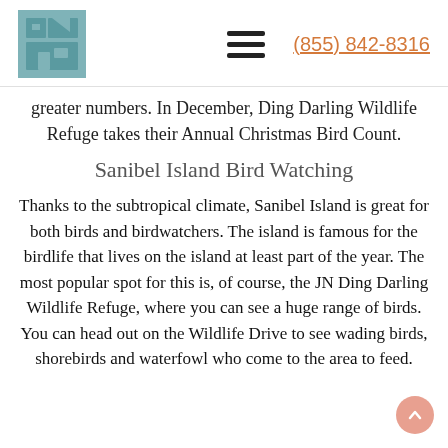(855) 842-8316
greater numbers. In December, Ding Darling Wildlife Refuge takes their Annual Christmas Bird Count.
Sanibel Island Bird Watching
Thanks to the subtropical climate, Sanibel Island is great for both birds and birdwatchers. The island is famous for the birdlife that lives on the island at least part of the year. The most popular spot for this is, of course, the JN Ding Darling Wildlife Refuge, where you can see a huge range of birds. You can head out on the Wildlife Drive to see wading birds, shorebirds and waterfowl who come to the area to feed.